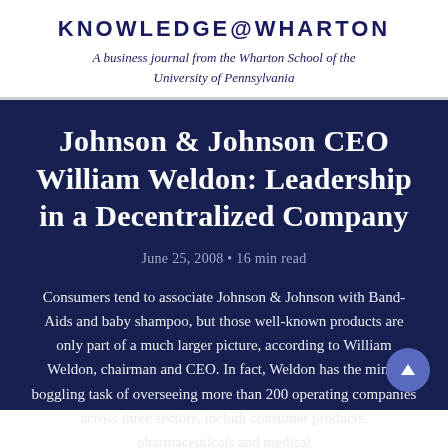KNOWLEDGE@WHARTON
A business journal from the Wharton School of the University of Pennsylvania
Johnson & Johnson CEO William Weldon: Leadership in a Decentralized Company
June 25, 2008 • 16 min read
Consumers tend to associate Johnson & Johnson with Band-Aids and baby shampoo, but those well-known products are only part of a much larger picture, according to William Weldon, chairman and CEO. In fact, Weldon has the mind-boggling task of overseeing more than 200 operating companies across three sectors, including consumer products, pharmaceuticals and medical